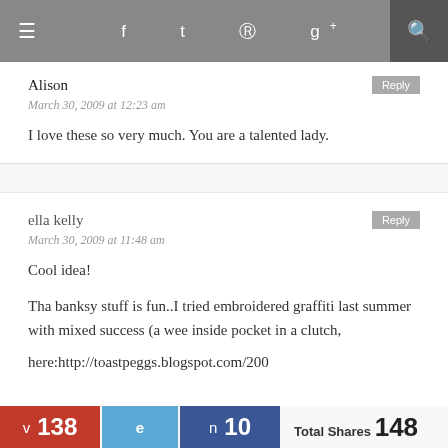≡  f  t   pinterest  g+  [search]
Alison
March 30, 2009 at 12:23 am
I love these so very much. You are a talented lady.
ella kelly
March 30, 2009 at 11:48 am
Cool idea!

Tha banksy stuff is fun..I tried embroidered graffiti last summer with mixed success (a wee inside pocket in a clutch,
here:http://toastpeggs.blogspot.com/200
v 138  e  n 10  Total Shares 148